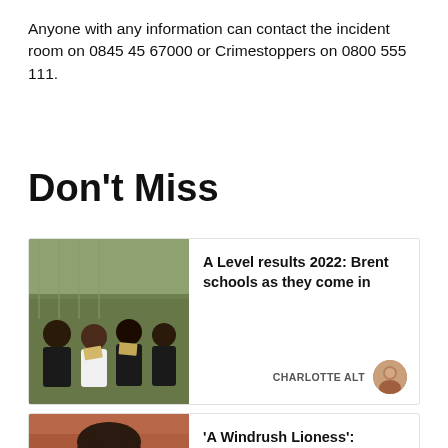Anyone with any information can contact the incident room on 0845 45 67000 or Crimestoppers on 0800 555 111.
Don't Miss
[Figure (photo): Group of students sitting outdoors holding papers/results envelopes]
A Level results 2022: Brent schools as they come in
CHARLOTTE ALT
[Figure (photo): Portrait photo of an elderly woman, Lera Clarke]
'A Windrush Lioness': Tributes paid to Harlesden resident Lera Clarke